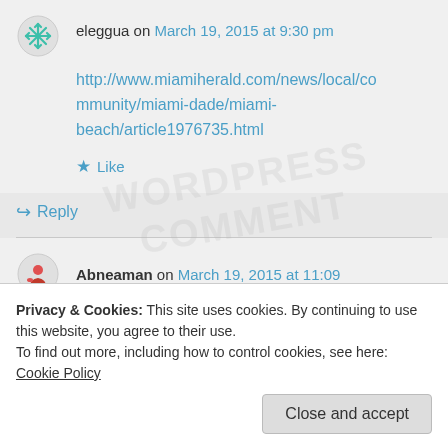eleggua on March 19, 2015 at 9:30 pm
http://www.miamiherald.com/news/local/community/miami-dade/miami-beach/article1976735.html
★ Like
↳ Reply
Abneaman on March 19, 2015 at 11:09
↳ Reply
Privacy & Cookies: This site uses cookies. By continuing to use this website, you agree to their use.
To find out more, including how to control cookies, see here: Cookie Policy
Close and accept